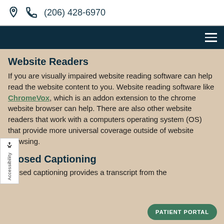(206) 428-6970
Website Readers
If you are visually impaired website reading software can help read the website content to you. Website reading software like ChromeVox, which is an addon extension to the chrome website browser can help. There are also other website readers that work with a computers operating system (OS) that provide more universal coverage outside of website browsing.
Closed Captioning
Closed captioning provides a transcript from the